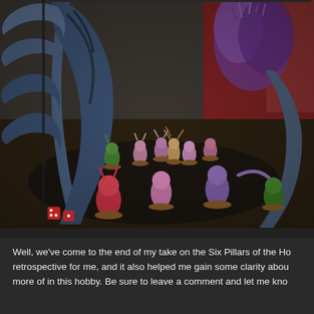[Figure (photo): Photograph of painted Warhammer tabletop miniatures on a gaming table. Features large dark blue spiky terrain pieces on the left, a large pink/purple daemon monster in the upper right, and a crowd of smaller daemonic miniatures (pinks, purples, greens) in the foreground on brown bases. Purple foliage terrain and red background visible in the back.]
Well, we've come to the end of my take on the Six Pillars of the Ho retrospective for me, and it also helped me gain some clarity abou more of in this hobby. Be sure to leave a comment and let me kno